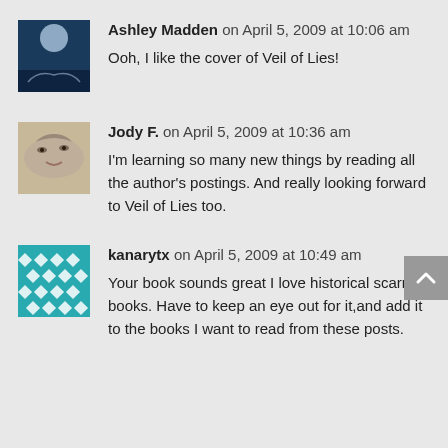Ashley Madden on April 5, 2009 at 10:06 am
Ooh, I like the cover of Veil of Lies!
Jody F. on April 5, 2009 at 10:36 am
I'm learning so many new things by reading all the author's postings. And really looking forward to Veil of Lies too.
kanarytx on April 5, 2009 at 10:49 am
Your book sounds great I love historical scarry books. Have to keep an eye out for it,and add it to the books I want to read from these posts.